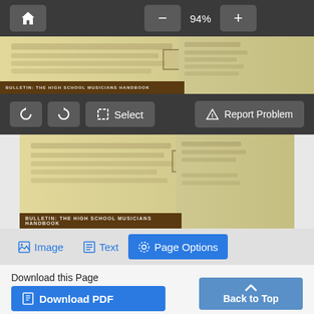[Figure (screenshot): Top dark toolbar with home button, minus button, 94% zoom label, and plus button]
[Figure (screenshot): Blurred scanned document page preview (top), showing old newspaper or bulletin with dark brown heading bar]
[Figure (screenshot): Middle dark toolbar with rotate-left, rotate-right, Select buttons and Report Problem button on right]
[Figure (screenshot): Blurred scanned document page preview (bottom), showing old newspaper or bulletin with dark brown heading bar]
[Figure (screenshot): Tab bar with Image, Text, and Page Options (active/blue) tabs]
Download this Page
[Figure (screenshot): Download PDF blue button and Back to Top blue button]